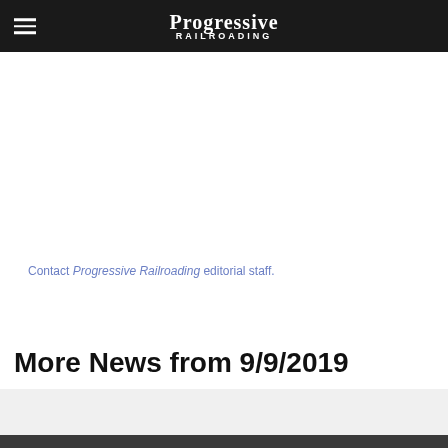Progressive Railroading
Contact Progressive Railroading editorial staff.
More News from 9/9/2019